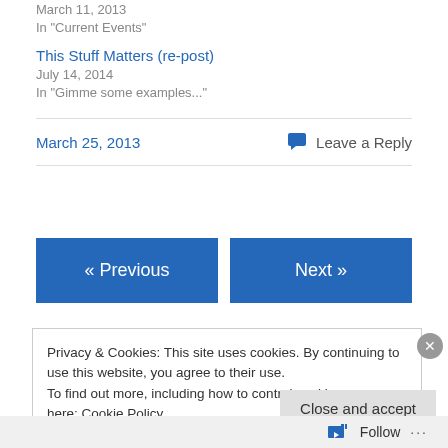March 11, 2013
In "Current Events"
This Stuff Matters (re-post)
July 14, 2014
In "Gimme some examples..."
March 25, 2013
Leave a Reply
« Previous
Next »
Privacy & Cookies: This site uses cookies. By continuing to use this website, you agree to their use.
To find out more, including how to control cookies, see here: Cookie Policy
Close and accept
Follow